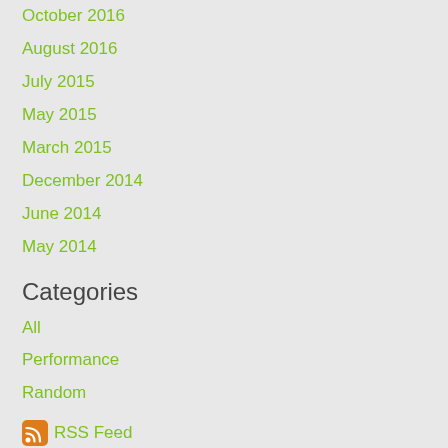October 2016
August 2016
July 2015
May 2015
March 2015
December 2014
June 2014
May 2014
Categories
All
Performance
Random
RSS Feed
Version: Mobile | Web
Created with Weebly  Get the App